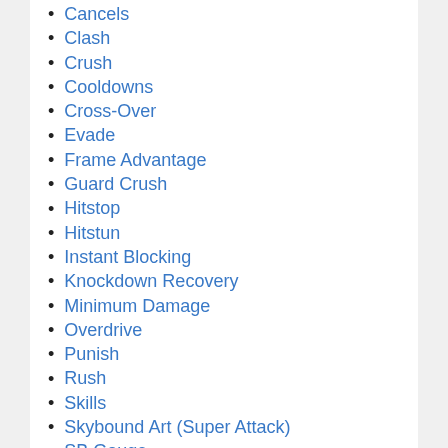Cancels
Clash
Crush
Cooldowns
Cross-Over
Evade
Frame Advantage
Guard Crush
Hitstop
Hitstun
Instant Blocking
Knockdown Recovery
Minimum Damage
Overdrive
Punish
Rush
Skills
Skybound Art (Super Attack)
SB Gauge